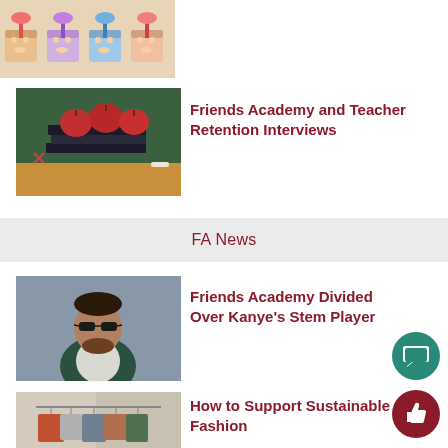[Figure (illustration): Cartoon characters in boxes along the top strip]
[Figure (photo): Red apples on stack of black books with scissors and chalk on wooden desk in front of green chalkboard]
Friends Academy and Teacher Retention Interviews
FA News
[Figure (photo): Man wearing dark sunglasses and jacket, smiling]
Friends Academy Divided Over Kanye's Stem Player
[Figure (photo): Clothing rack with garments on hangers in a store]
How to Support Sustainable Fashion